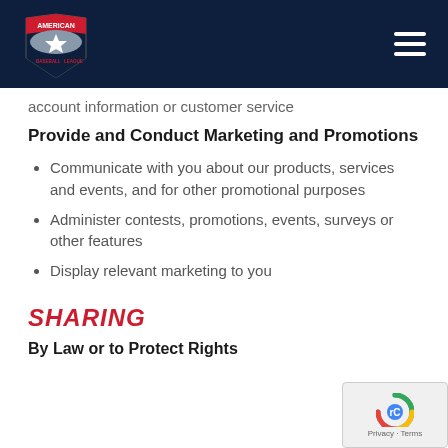[Figure (logo): American Association baseball league logo with star emblem on dark navy header bar]
account information or customer service
Provide and Conduct Marketing and Promotions
Communicate with you about our products, services and events, and for other promotional purposes
Administer contests, promotions, events, surveys or other features
Display relevant marketing to you
SHARING
By Law or to Protect Rights
[Figure (logo): reCAPTCHA widget with Privacy and Terms text]